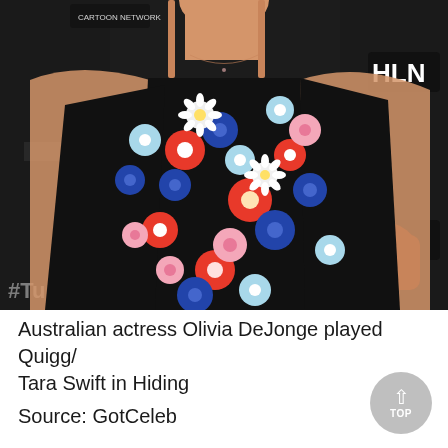[Figure (photo): A woman wearing a black floral spaghetti-strap dress with red, blue, pink, and white flower patterns, standing at a media event backdrop featuring Turner Network logos including HLN, tbs, and hashtag #T. The photo shows her from shoulders down to approximately mid-torso.]
Australian actress Olivia DeJonge played Quigg/Tara Swift in Hiding
Source: GotCeleb